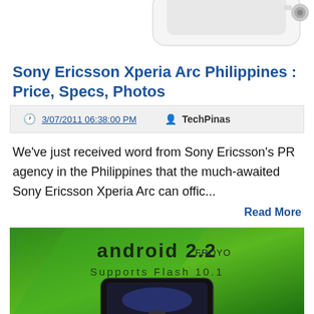[Figure (photo): Partial view of a white Sony Ericsson Xperia Arc smartphone, showing top portion against white background]
Sony Ericsson Xperia Arc Philippines : Price, Specs, Photos
3/07/2011 06:38:00 PM   TechPinas
We've just received word from Sony Ericsson's PR agency in the Philippines that the much-awaited Sony Ericsson Xperia Arc can offic...
Read More
[Figure (photo): Photo showing an Android 2.2 Froyo 'Supports Flash 10.1' banner with a black smartphone at the bottom]